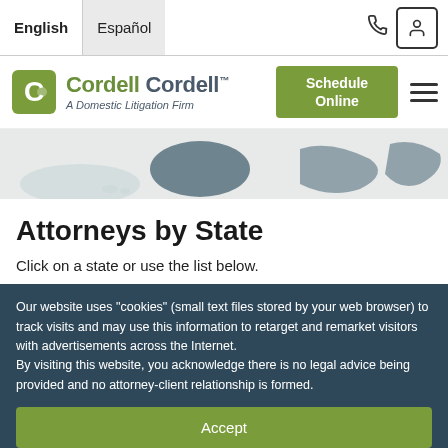English   Español
[Figure (logo): Cordell Cordell – A Domestic Litigation Firm logo with green C icon]
[Figure (map): Partial US map showing state outlines in grey and dark teal]
Attorneys by State
Click on a state or use the list below.
Our website uses "cookies" (small text files stored by your web browser) to track visits and may use this information to retarget and remarket visitors with advertisements across the Internet.
By visiting this website, you acknowledge there is no legal advice being provided and no attorney-client relationship is formed.
Accept